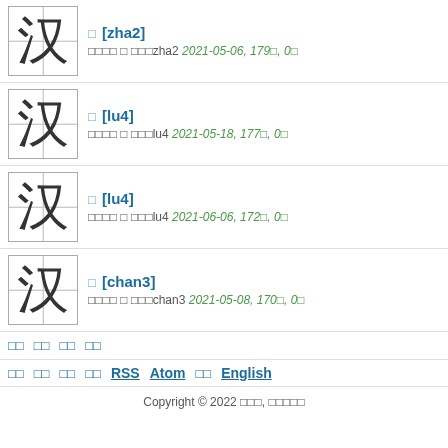汉 □ [zha2] □□□□ □ □□□zha2 2021-05-06, 179□, 0□
汉 □ [lu4] □□□□ □ □□□lu4 2021-05-18, 177□, 0□
汉 □ [lu4] □□□□ □ □□□lu4 2021-06-06, 172□, 0□
汉 □ [chan3] □□□□ □ □□□chan3 2021-05-08, 170□, 0□
□□ □□ □□ □□
□□ □□ □□ □□ RSS Atom □□ English
Copyright © 2022 □□□, □□□□□